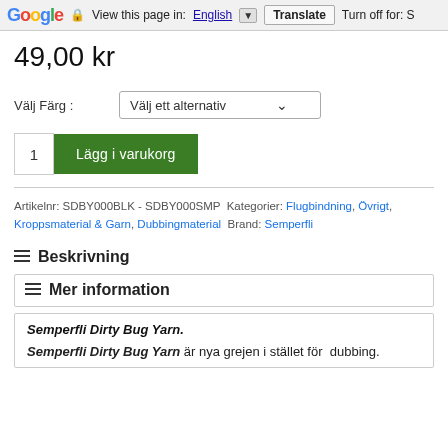Google  View this page in: English [▼]  Translate  Turn off for: S
49,00 kr
Välj Färg :   Välj ett alternativ ▾
1   Lägg i varukorg
Artikelnr: SDBY000BLK - SDBY000SMP Kategorier: Flugbindning, Övrigt, Kroppsmaterial & Garn, Dubbingmaterial Brand: Semperfli
≡ Beskrivning
≡ Mer information
Semperfli Dirty Bug Yarn.
Semperfli Dirty Bug Yarn är nya grejen i stället för dubbing.